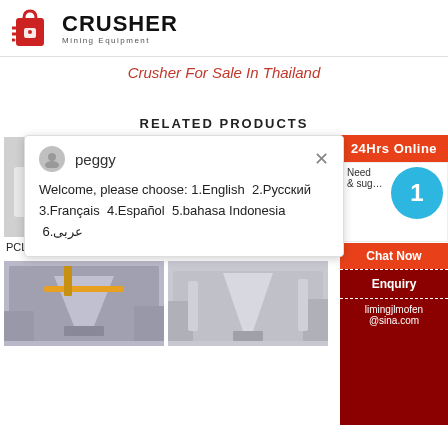CRUSHER Mining Equipment
Crusher For Sale In Thailand
RELATED PRODUCTS
[Figure (screenshot): Chat popup overlay with avatar for 'peggy', close button, and message: Welcome, please choose: 1.English 2.Русский 3.Français 4.Español 5.bahasa Indonesia 6.عربى]
[Figure (photo): PCL Sand Making Machine - industrial white machinery in factory]
PCL Sand Making Machine
[Figure (photo): VSI5X Impact Crusher - industrial white machinery in factory]
VSI5X Impa...
[Figure (photo): Industrial crusher machine in factory - bottom left]
[Figure (photo): Industrial white machinery in factory - bottom right]
[Figure (infographic): Right sidebar with 24Hrs Online badge, blue circle with '1', Need & suggestions section, Chat Now button, dashed divider, Enquiry button, limingjlmofen@sina.com email]